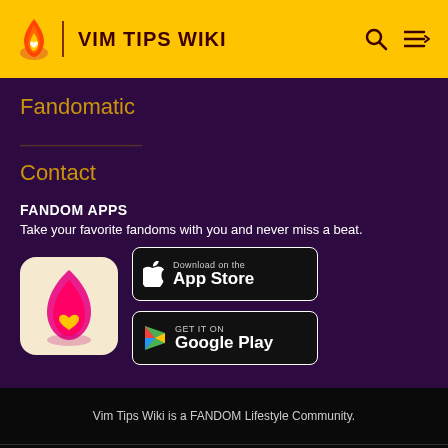VIM TIPS WIKI
Fandomatic
Contact
FANDOM APPS
Take your favorite fandoms with you and never miss a beat.
[Figure (logo): Fandom app icon: pink/red flame with yellow heart on cream background]
[Figure (logo): Download on the App Store button]
[Figure (logo): Get it on Google Play button]
Vim Tips Wiki is a FANDOM Lifestyle Community.
VIEW FULL SITE